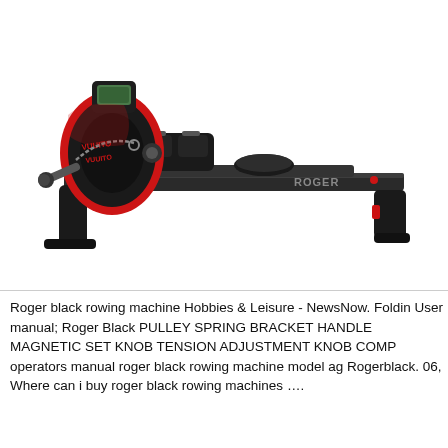[Figure (photo): Photo of a Roger Black rowing machine — black and red frame with a long monorail, seat, foot pedals, handle with strap/pulley, and a small digital console at the front. The machine is shown at an angle on a white background.]
Roger black rowing machine Hobbies & Leisure - NewsNow. Foldin User manual; Roger Black PULLEY SPRING BRACKET HANDLE MAGNETIC SET KNOB TENSION ADJUSTMENT KNOB COMP operators manual roger black rowing machine model ag Rogerblack. 06, Where can i buy roger black rowing machines ….